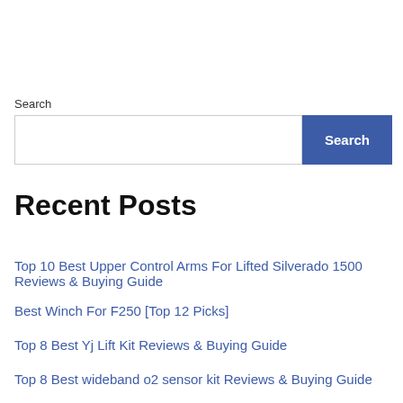Search
Recent Posts
Top 10 Best Upper Control Arms For Lifted Silverado 1500 Reviews & Buying Guide
Best Winch For F250 [Top 12 Picks]
Top 8 Best Yj Lift Kit Reviews & Buying Guide
Top 8 Best wideband o2 sensor kit Reviews & Buying Guide